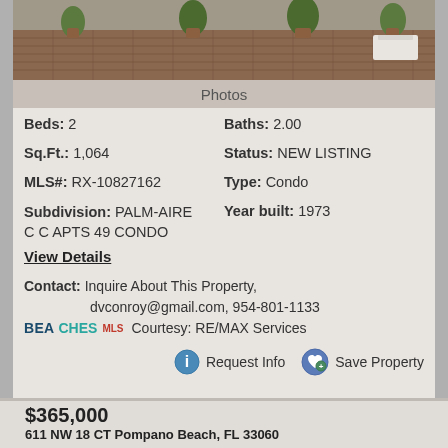[Figure (photo): Exterior photo of a property showing a brick/tile patio area with potted plants]
Photos
Beds: 2    Baths: 2.00
Sq.Ft.: 1,064    Status: NEW LISTING
MLS#: RX-10827162    Type: Condo
Subdivision: PALM-AIRE C C APTS 49 CONDO    Year built: 1973
View Details
Contact: Inquire About This Property, dvconroy@gmail.com, 954-801-1133
BEACHES MLS Courtesy: RE/MAX Services
Request Info   Save Property
View additional info
$365,000
611 NW 18 CT Pompano Beach, FL 33060